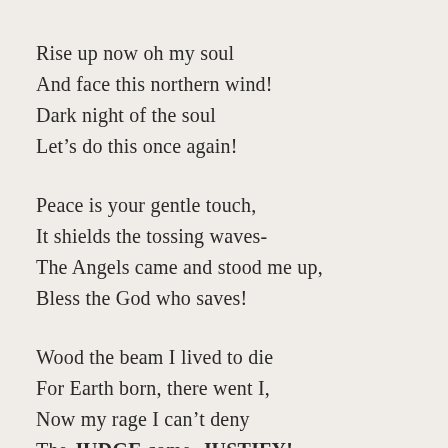Rise up now oh my soul
And face this northern wind!
Dark night of the soul
Let’s do this once again!
Peace is your gentle touch,
It shields the tossing waves-
The Angels came and stood me up,
Bless the God who saves!
Wood the beam I lived to die
For Earth born, there went I,
Now my rage I can’t deny
The JUDGE come, JUSTIFY!